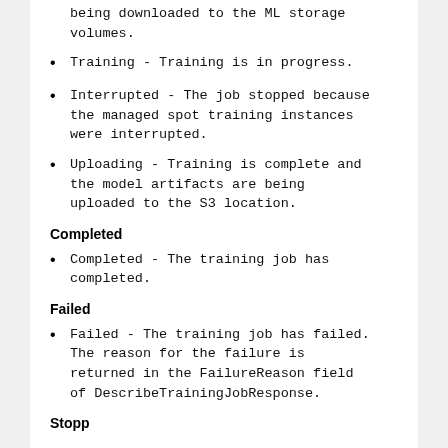being downloaded to the ML storage volumes.
Training - Training is in progress.
Interrupted - The job stopped because the managed spot training instances were interrupted.
Uploading - Training is complete and the model artifacts are being uploaded to the S3 location.
Completed
Completed - The training job has completed.
Failed
Failed - The training job has failed. The reason for the failure is returned in the FailureReason field of DescribeTrainingJobResponse.
Stopped